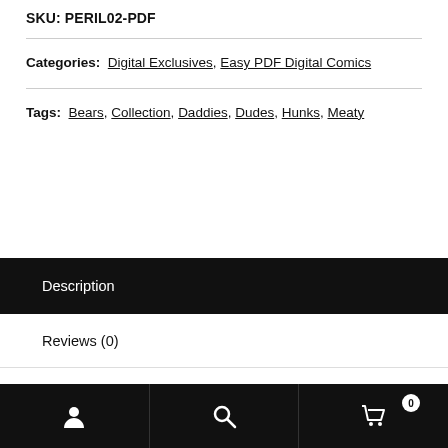SKU: PERIL02-PDF
Categories: Digital Exclusives, Easy PDF Digital Comics
Tags: Bears, Collection, Daddies, Dudes, Hunks, Meaty
Description
Reviews (0)
[user icon] [search icon] [cart icon] 0